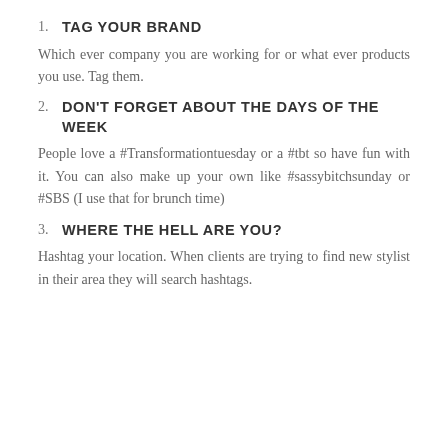1. TAG YOUR BRAND
Which ever company you are working for or what ever products you use. Tag them.
2. DON'T FORGET ABOUT THE DAYS OF THE WEEK
People love a #Transformationtuesday or a #tbt so have fun with it. You can also make up your own like #sassybitchsunday or #SBS (I use that for brunch time)
3. WHERE THE HELL ARE YOU?
Hashtag your location. When clients are trying to find new stylist in their area they will search hashtags.